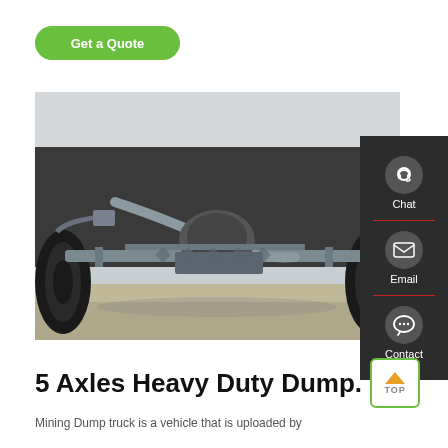[Figure (photo): Underside view of a heavy duty dump truck showing axles, frame, and wheels photographed from below on a concrete surface.]
Get a Quote
5 Axles Heavy Duty Dump.
Mining Dump truck is a vehicle that is uploaded by